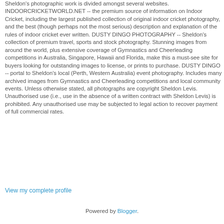Sheldon's photographic work is divided amongst several websites. INDOORCRICKETWORLD.NET -- the premium source of information on Indoor Cricket, including the largest published collection of original indoor cricket photography, and the best (though perhaps not the most serious) description and explanation of the rules of indoor cricket ever written. DUSTY DINGO PHOTOGRAPHY -- Sheldon's collection of premium travel, sports and stock photography. Stunning images from around the world, plus extensive coverage of Gymnastics and Cheerleading competitions in Australia, Singapore, Hawaii and Florida, make this a must-see site for buyers looking for outstanding images to license, or prints to purchase. DUSTY DINGO -- portal to Sheldon's local (Perth, Western Australia) event photography. Includes many archived images from Gymnastics and Cheerleading competitions and local community events. Unless otherwise stated, all photographs are copyright Sheldon Levis. Unauthorised use (i.e., use in the absence of a written contract with Sheldon Levis) is prohibited. Any unauthorised use may be subjected to legal action to recover payment of full commercial rates.
View my complete profile
Powered by Blogger.